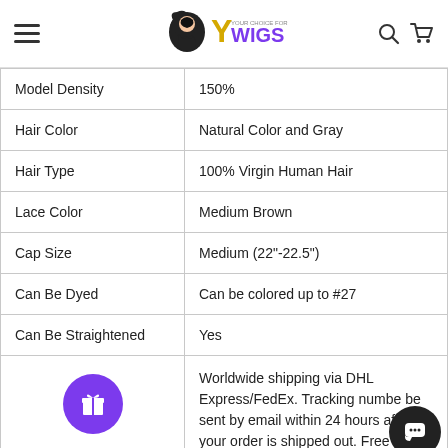YY WIGS
| Attribute | Value |
| --- | --- |
| Model Density | 150% |
| Hair Color | Natural Color and Gray |
| Hair Type | 100% Virgin Human Hair |
| Lace Color | Medium Brown |
| Cap Size | Medium (22"-22.5") |
| Can Be Dyed | Can be colored up to #27 |
| Can Be Straightened | Yes |
| (shipping icon) | Worldwide shipping via DHL Express/FedEx. Tracking number be sent by email within 24 hours after your order is shipped out. Free |